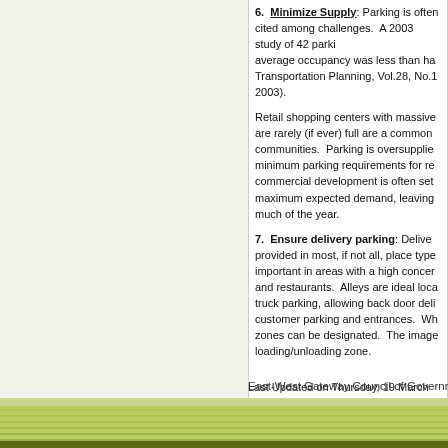6. Minimize Supply: Parking is often cited among challenges. A 2003 study of 42 parking facilities found average occupancy was less than half... Transportation Planning, Vol.28, No.1, 2003).
Retail shopping centers with massive parking lots that are rarely (if ever) full are a common sight in many communities. Parking is oversupplied because minimum parking requirements for retail/commercial development is often set at the maximum expected demand, leaving lots underused much of the year.
7. Ensure delivery parking: Delivery parking should be provided in most, if not all, place types and is especially important in areas with a high concentration of retail and restaurants. Alleys are ideal locations for delivery truck parking, allowing back door deliveries away from customer parking and entrances. Where alleys aren't present zones can be designated. The image below shows a loading/unloading zone.
Last Updated on Thursday, 19 March
East-West Gateway Council of Governments |